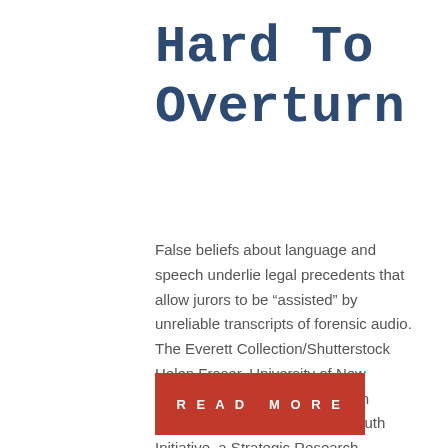Hard To Overturn
False beliefs about language and speech underlie legal precedents that allow jurors to be “assisted” by unreliable transcripts of forensic audio. The Everett Collection/Shutterstock Helen Fraser, University of New England This article is part of an ongoing series from the Post-Truth Initiative, a Strategic Research Excellence Initiative at…
READ MORE